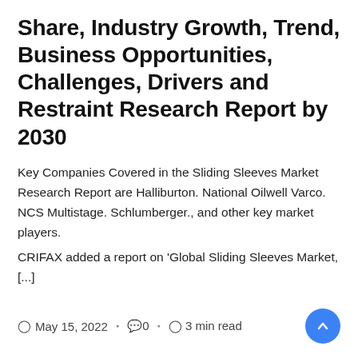Share, Industry Growth, Trend, Business Opportunities, Challenges, Drivers and Restraint Research Report by 2030
Key Companies Covered in the Sliding Sleeves Market Research Report are Halliburton. National Oilwell Varco. NCS Multistage. Schlumberger., and other key market players.
CRIFAX added a report on ‘Global Sliding Sleeves Market, [...]
May 15, 2022 · 0 · 3 min read